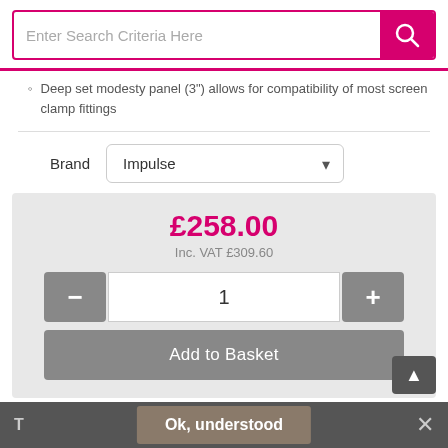[Figure (screenshot): Search bar with pink border and pink search button with magnifying glass icon]
Deep set modesty panel (3") allows for compatibility of most screen clamp fittings
Brand  Impulse (dropdown)
£258.00
Inc. VAT £309.60
[quantity selector: - 1 +]
[Add to Basket button]
T   Ok, understood   ✕